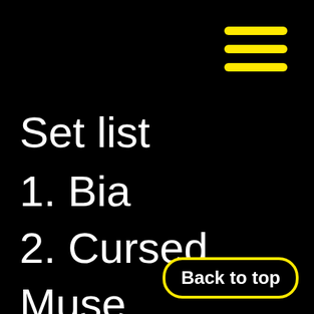[Figure (illustration): Hamburger menu icon with three yellow horizontal rounded lines in the top-right corner]
Set list
1. Bia
2. Cursed Muse
3. Isadora
Back to top